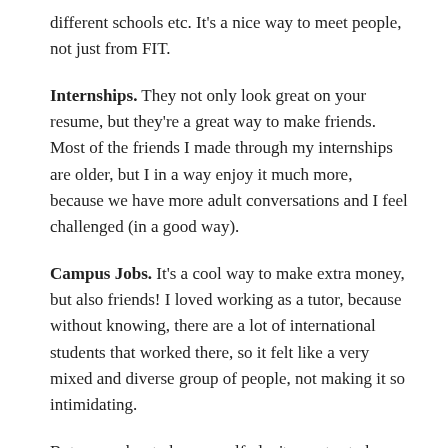different schools etc. It's a nice way to meet people, not just from FIT.
Internships. They not only look great on your resume, but they're a great way to make friends. Most of the friends I made through my internships are older, but I in a way enjoy it much more, because we have more adult conversations and I feel challenged (in a good way).
Campus Jobs. It's a cool way to make extra money, but also friends! I loved working as a tutor, because without knowing, there are a lot of international students that worked there, so it felt like a very mixed and diverse group of people, not making it so intimidating.
But remember to be yourself, don't ever try to be someone you are not!
xoxo